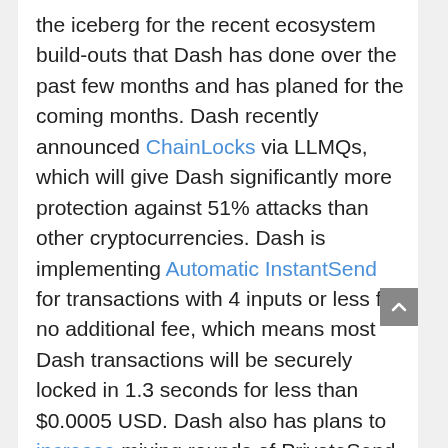the iceberg for the recent ecosystem build-outs that Dash has done over the past few months and has planed for the coming months. Dash recently announced ChainLocks via LLMQs, which will give Dash significantly more protection against 51% attacks than other cryptocurrencies. Dash is implementing Automatic InstantSend for transactions with 4 inputs or less for no additional fee, which means most Dash transactions will be securely locked in 1.3 seconds for less than $0.0005 USD. Dash also has plans to increase mixing rounds of PrivateSend and lower the cost. This all leads to